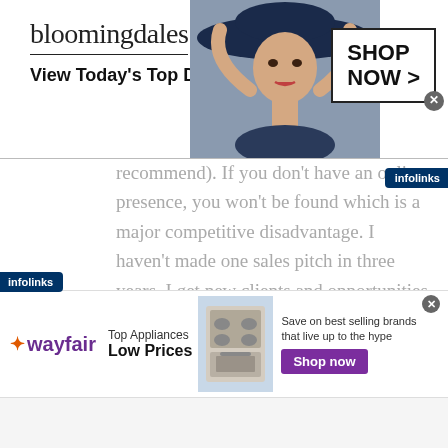[Figure (other): Bloomingdales advertisement banner with logo, 'View Today's Top Deals!', model with hat, and 'SHOP NOW >' button]
recommend). If you don't have an online presence, you won't be found which is a major competitive disadvantage. I haven't made one sales pitch in three years. I get new clients and opportunities based on being found, and it works.
Susan Gunelius: You've achieved a lot of success at a young age and even have an internationally best selling book to your credit
[Figure (other): Infolinks badge (top right)]
[Figure (other): Infolinks badge (bottom left)]
[Figure (other): Wayfair advertisement banner with logo, 'Top Appliances Low Prices', appliance image, 'Save on best selling brands that live up to the hype', 'Shop now' button]